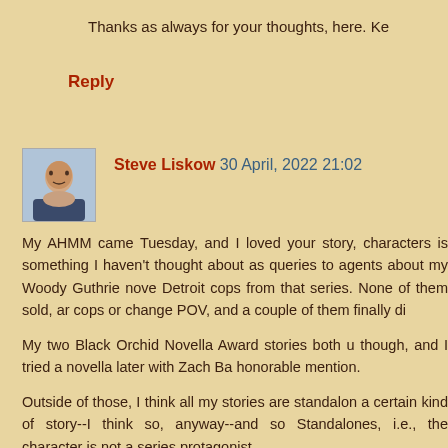Thanks as always for your thoughts, here. Ke
Reply
Steve Liskow 30 April, 2022 21:02
My AHMM came Tuesday, and I loved your story, characters is something I haven't thought about as queries to agents about my Woody Guthrie nove Detroit cops from that series. None of them sold, a cops or change POV, and a couple of them finally di
My two Black Orchid Novella Award stories both u though, and I tried a novella later with Zach Ba honorable mention.
Outside of those, I think all my stories are standalon a certain kind of story--I think so, anyway--and so Standalones, i.e., the character is not a series protagonist